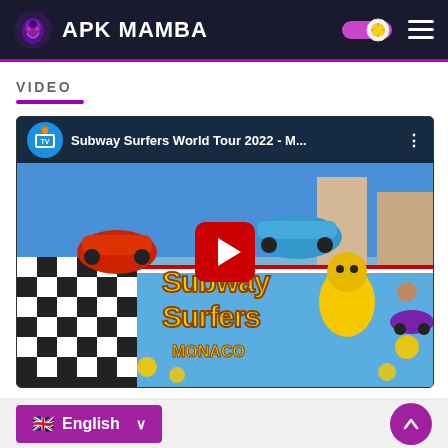APK MAMBA
VIDEO
[Figure (screenshot): YouTube video thumbnail for 'Subway Surfers World Tour 2022 - M...' showing animated racing scene with Subway Surfers characters in Monaco. Red play button in center.]
English